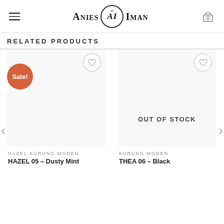Anies Iman (logo with navigation)
RELATED PRODUCTS
[Figure (screenshot): E-commerce product listing page showing related products. Left product card has a Sale! badge and a heart/wishlist icon. Right product card shows OUT OF STOCK overlay and a heart/wishlist icon. Navigation arrows on left and right sides.]
OUT OF STOCK
HAZEL KURUNG MODEN
HAZEL 05 – Dusty Mint
KURUNG MODEN
THEA 06 – Black